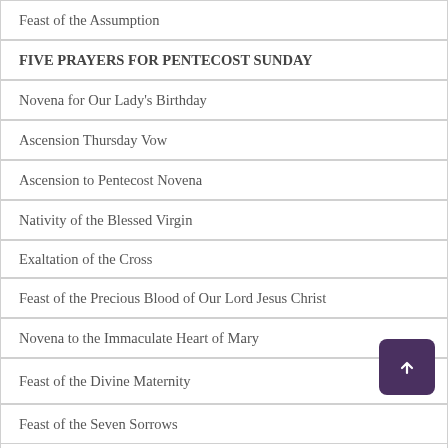Feast of the Assumption
FIVE PRAYERS FOR PENTECOST SUNDAY
Novena for Our Lady's Birthday
Ascension Thursday Vow
Ascension to Pentecost Novena
Nativity of the Blessed Virgin
Exaltation of the Cross
Feast of the Precious Blood of Our Lord Jesus Christ
Novena to the Immaculate Heart of Mary
Feast of the Divine Maternity
Feast of the Seven Sorrows